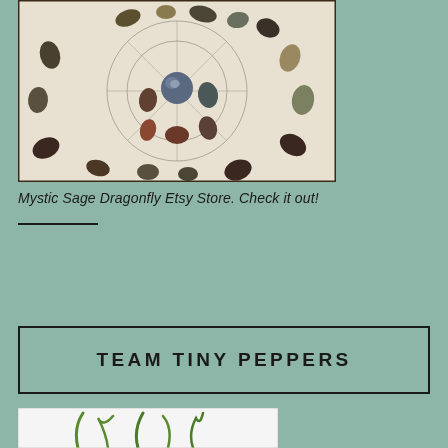[Figure (photo): Photo of polished gemstones and crystals arranged on a white cloth with a mandala/Celtic knot design. Various stones of different colors including dark, brown, and colorful specimens arranged in a circular pattern.]
Mystic Sage Dragonfly Etsy Store. Check it out!
TEAM TINY PEPPERS
[Figure (photo): Partial photo of green pepper plant stems/sprouts against a white background.]